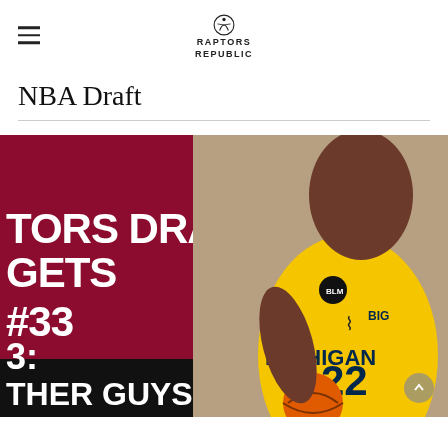≡  RAPTORS REPUBLIC
NBA Draft
[Figure (photo): Raptors Draft Targets #33 promotional graphic on dark red background with a Michigan #22 basketball player on the right side. Text reads 'TORS DRAFT, GETS, #33' and at bottom '3: THER GUYS']